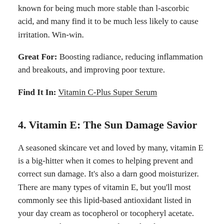known for being much more stable than l-ascorbic acid, and many find it to be much less likely to cause irritation. Win-win.
Great For: Boosting radiance, reducing inflammation and breakouts, and improving poor texture.
Find It In: Vitamin C-Plus Super Serum
4. Vitamin E: The Sun Damage Savior
A seasoned skincare vet and loved by many, vitamin E is a big-hitter when it comes to helping prevent and correct sun damage. It’s also a darn good moisturizer. There are many types of vitamin E, but you’ll most commonly see this lipid-based antioxidant listed in your day cream as tocopherol or tocopheryl acetate. On its own, however, it’s easily oxidized so can quickly become ineffective on